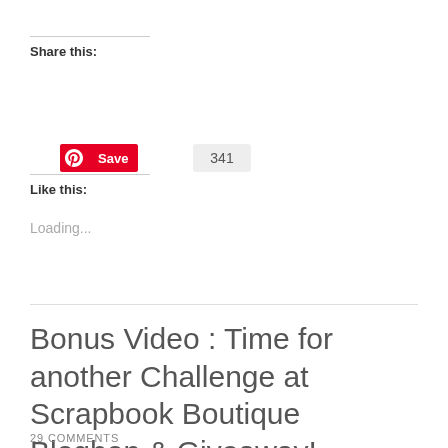Share this:
[Figure (other): Pinterest Save button with count 341]
Like this:
Loading...
Bonus Video : Time for another Challenge at Scrapbook Boutique Bloghop & Giveaway!
29 COMMENTS